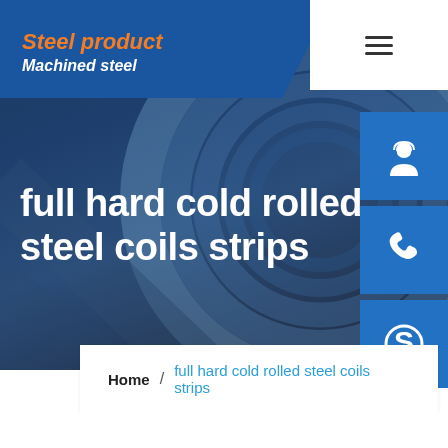Steel product / Machined steel
full hard cold rolled steel coils strips
Home / full hard cold rolled steel coils strips